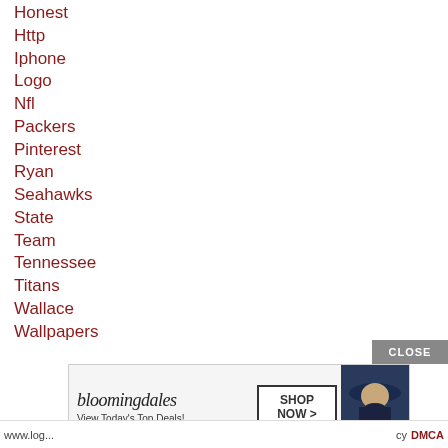Honest
Http
Iphone
Logo
Nfl
Packers
Pinterest
Ryan
Seahawks
State
Team
Tennessee
Titans
Wallace
Wallpapers
Youtube
[Figure (other): Bloomingdale's advertisement banner with CLOSE button, showing 'View Today's Top Deals!' with a SHOP NOW button and a woman wearing a hat]
www.log... | cy | DMCA